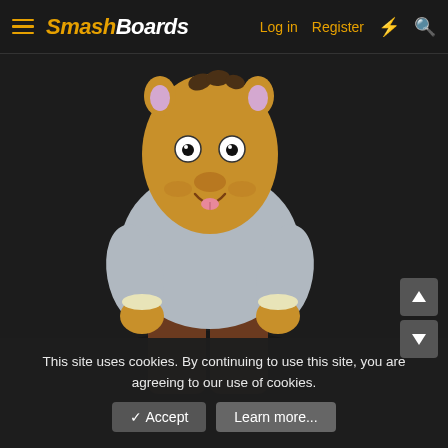SmashBoards — Log in  Register
[Figure (illustration): Cartoon character resembling Arthur (aardvark) from the animated TV show, wearing a grey sweater and brown pants, standing with hands on hips, smiling, on a dark background.]
This site uses cookies. By continuing to use this site, you are agreeing to our use of cookies.
✓ Accept   Learn more...